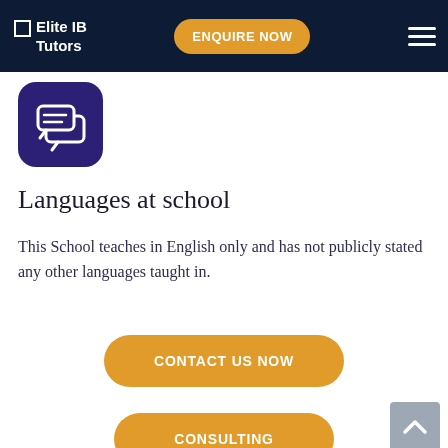Elite IB Tutors
[Figure (illustration): Chat/messaging icon with two speech bubbles on a dark purple rounded square background]
Languages at school
This School teaches in English only and has not publicly stated any other languages taught in.
CONTACT US NOW
CONSULTING